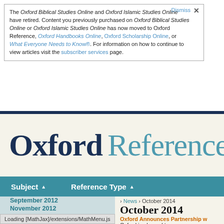The Oxford Biblical Studies Online and Oxford Islamic Studies Online have retired. Content you previously purchased on Oxford Biblical Studies Online or Oxford Islamic Studies Online has now moved to Oxford Reference, Oxford Handbooks Online, Oxford Scholarship Online, or What Everyone Needs to Know®. For information on how to continue to view articles visit the subscriber services page.
[Figure (screenshot): Oxford Reference website logo and navigation bar with teal navigation menu]
News › October 2014
October 2014
Oxford Announces Partnership w...
Oxford is pleased to announce a ne...
September 2012
November 2012
December 2012
January 2013
February 2013
Loading [MathJax]/extensions/MathMenu.js